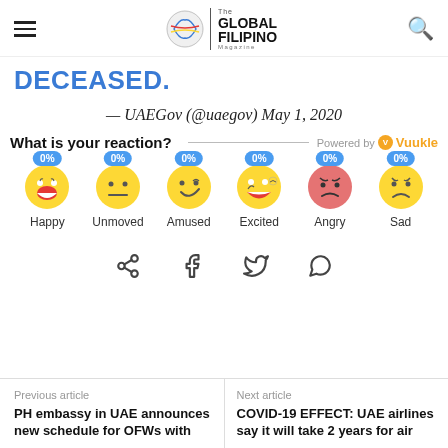The Global Filipino Magazine
DECEASED.
— UAEGov (@uaegov) May 1, 2020
[Figure (infographic): Reaction widget powered by Vuukle showing 6 emoji reactions each at 0%: Happy, Unmoved, Amused, Excited, Angry, Sad]
[Figure (infographic): Share icons row: share, facebook, twitter, whatsapp]
Previous article
PH embassy in UAE announces new schedule for OFWs with
Next article
COVID-19 EFFECT: UAE airlines say it will take 2 years for air